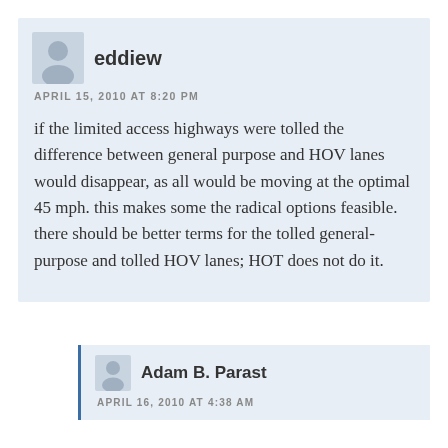eddiew
APRIL 15, 2010 AT 8:20 PM
if the limited access highways were tolled the difference between general purpose and HOV lanes would disappear, as all would be moving at the optimal 45 mph. this makes some the radical options feasible. there should be better terms for the tolled general-purpose and tolled HOV lanes; HOT does not do it.
Adam B. Parast
APRIL 16, 2010 AT 4:38 AM